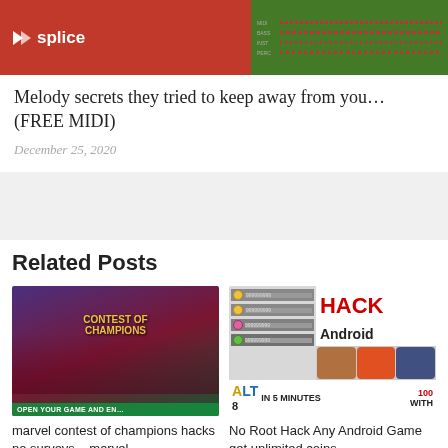[Figure (screenshot): Splice app screenshot with red and green background, showing splice logo on left and a dark grid/track overlay on the right side]
Melody secrets they tried to keep away from you… (FREE MIDI)
December 25, 2020
Related Posts
[Figure (screenshot): Marvel Contest of Champions game screenshot with purple/red background and green banner at bottom reading OPEN YOUR GAME AND EN...]
marvel contest of champions hacks no surveys – marvel
[Figure (screenshot): Android game hack thumbnail showing HACK Android text in red, coin counters on left, game icons, ALT 8 logo, IN 5 MINUTES and WITH text]
No Root Hack Any Android Game get unlimited coins,